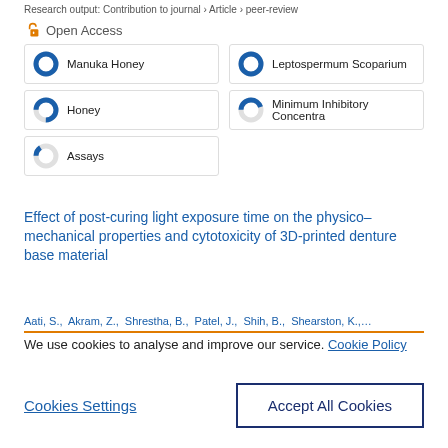Research output: Contribution to journal › Article › peer-review
Open Access
Manuka Honey
Leptospermum Scoparium
Honey
Minimum Inhibitory Concentra
Assays
Effect of post-curing light exposure time on the physico–mechanical properties and cytotoxicity of 3D-printed denture base material
Aati, S., Akram, Z., Shrestha, B., Patel, J., Shih, B., Shearston, K., …
We use cookies to analyse and improve our service. Cookie Policy
Cookies Settings
Accept All Cookies